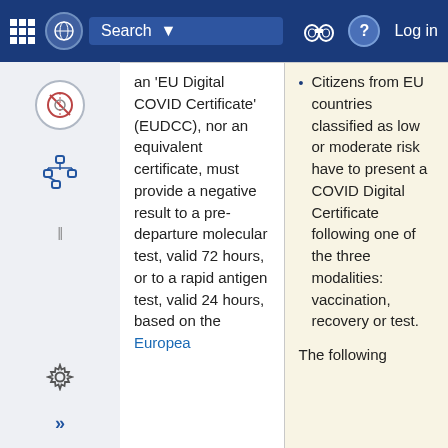Search | Log in
an 'EU Digital COVID Certificate' (EUDCC), nor an equivalent certificate, must provide a negative result to a pre-departure molecular test, valid 72 hours, or to a rapid antigen test, valid 24 hours, based on the Europea
Citizens from EU countries classified as low or moderate risk have to present a COVID Digital Certificate following one of the three modalities: vaccination, recovery or test.
The following